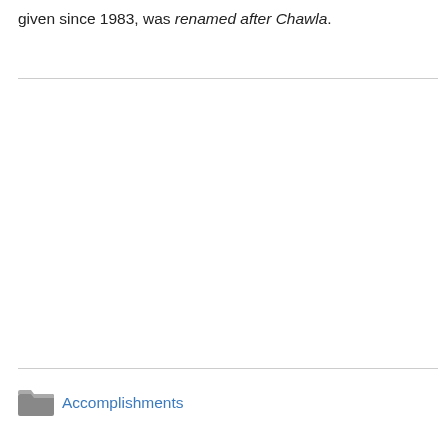given since 1983, was renamed after Chawla.
Accomplishments